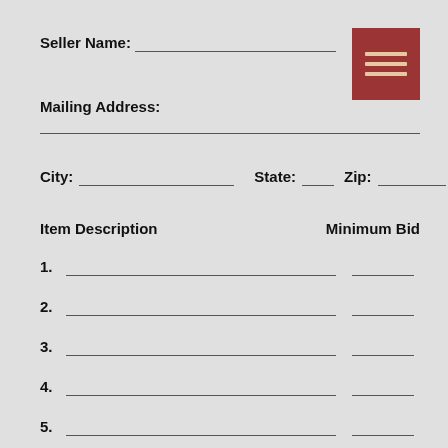Seller Name: ___________________________________________
Mailing Address:
_________________________________________________________
City: _________________________ State: _____ Zip: __________
Item Description   Minimum Bid
1. _____________________________________________ _________
2. _____________________________________________ _________
3. _____________________________________________ _________
4. _____________________________________________ _________
5. _____________________________________________ _________
6. _____________________________________________ _________
7. _____________________________________________ _________